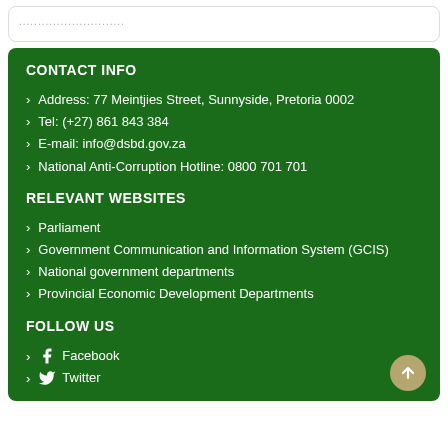............................
CONTACT INFO
Address: 77 Meintjies Street, Sunnyside, Pretoria 0002
Tel: (+27) 861 843 384
E-mail: info@dsbd.gov.za
National Anti-Corruption Hotline: 0800 701 701
RELEVANT WEBSITES
Parliament
Government Communication and Information System (GCIS)
National government departments
Provincial Economic Development Departments
FOLLOW US
Facebook
Twitter